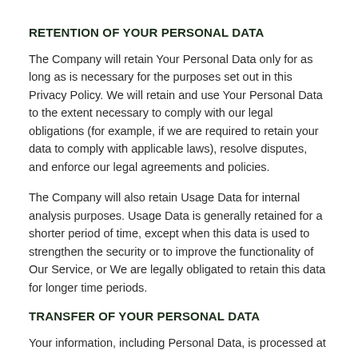RETENTION OF YOUR PERSONAL DATA
The Company will retain Your Personal Data only for as long as is necessary for the purposes set out in this Privacy Policy. We will retain and use Your Personal Data to the extent necessary to comply with our legal obligations (for example, if we are required to retain your data to comply with applicable laws), resolve disputes, and enforce our legal agreements and policies.
The Company will also retain Usage Data for internal analysis purposes. Usage Data is generally retained for a shorter period of time, except when this data is used to strengthen the security or to improve the functionality of Our Service, or We are legally obligated to retain this data for longer time periods.
TRANSFER OF YOUR PERSONAL DATA
Your information, including Personal Data, is processed at